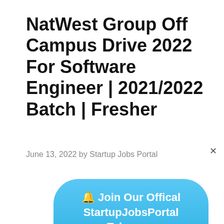NatWest Group Off Campus Drive 2022 For Software Engineer | 2021/2022 Batch | Fresher
June 13, 2022 by Startup Jobs Portal
[Figure (other): A rounded sky-blue button with white bold text reading: 🔔 Join Our Offical StartupJobsPortal Telegram Channel]